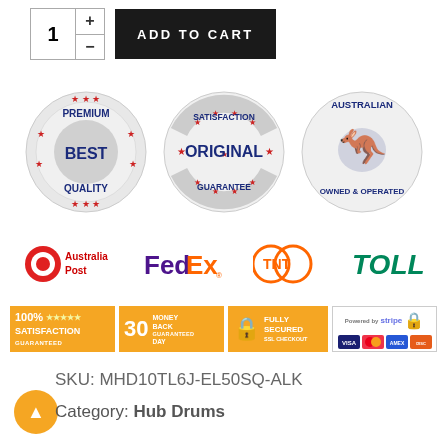[Figure (screenshot): Quantity selector with plus/minus buttons and Add to Cart button]
[Figure (infographic): Three trust badges: Premium Quality Best, Satisfaction Original Guarantee, Australian Owned & Operated]
[Figure (logo): Shipping provider logos: Australia Post, FedEx, TNT, TOLL]
[Figure (infographic): Trust bar: 100% Satisfaction Guaranteed, 30 Day Money Back Guaranteed, Fully Secured SSL Checkout, Stripe/Visa/Mastercard/Amex/Discover]
SKU: MHD10TL6J-EL50SQ-ALK
Category: Hub Drums